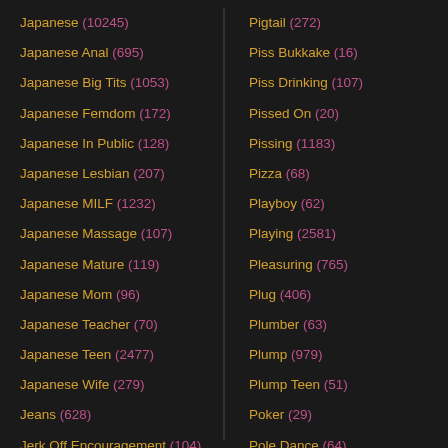Japanese (10245)
Japanese Anal (695)
Japanese Big Tits (1053)
Japanese Femdom (172)
Japanese In Public (128)
Japanese Lesbian (207)
Japanese MILF (1232)
Japanese Massage (107)
Japanese Mature (119)
Japanese Mom (96)
Japanese Teacher (70)
Japanese Teen (2477)
Japanese Wife (279)
Jeans (628)
Jerk Off Encouragement (104)
Jerking (1229)
Pigtail (272)
Piss Bukkake (16)
Piss Drinking (107)
Pissed On (20)
Pissing (1183)
Pizza (68)
Playboy (62)
Playing (2581)
Pleasuring (765)
Plug (406)
Plumber (63)
Plump (979)
Plump Teen (51)
Poker (29)
Pole Dance (64)
Police (184)